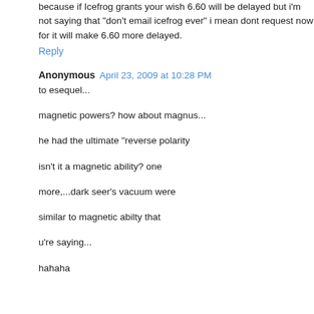because if Icefrog grants your wish 6.60 will be delayed but i'm not saying that "don't email icefrog ever" i mean dont request now for it will make 6.60 more delayed.
Reply
Anonymous  April 23, 2009 at 10:28 PM
to esequel...
magnetic powers? how about magnus...
he had the ultimate "reverse polarity
isn't it a magnetic ability? one
more,...dark seer's vacuum were
similar to magnetic abilty that
u're saying...
hahaha